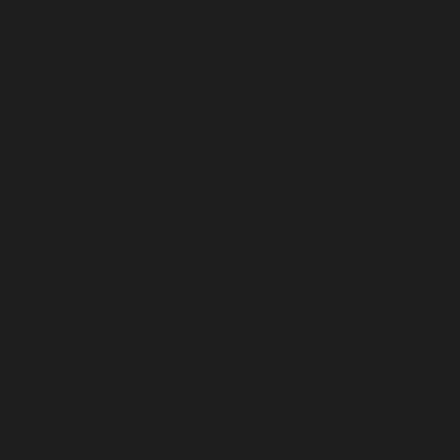[Figure (illustration): Gray placeholder avatar icon - person silhouette, first comment]
Vero
November
Hi there, I believe seem at your inter Explorer, it's some then that, great we
[Figure (illustration): Gray placeholder avatar icon - person silhouette, second comment]
mvjk
November
UgOC6q tvrphfbgq
[Figure (illustration): Gray placeholder avatar icon - person silhouette, third comment]
Aug
November
Hello there, I beli problems. When I wide web Explorer, up! Other then that